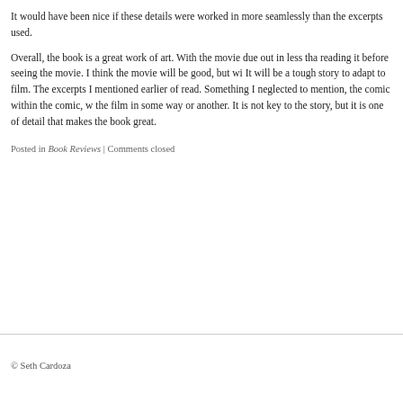It would have been nice if these details were worked in more seamlessly than the excerpts used.
Overall, the book is a great work of art. With the movie due out in less than a year, I recommend reading it before seeing the movie. I think the movie will be good, but will have a lot to live up to. It will be a tough story to adapt to film. The excerpts I mentioned earlier are an interesting type of read. Something I neglected to mention, the comic within the comic, will probably not make it into the film in some way or another. It is not key to the story, but it is one of the small pieces of detail that makes the book great.
Posted in Book Reviews | Comments closed
© Seth Cardoza